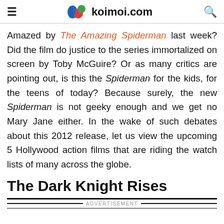koimoi.com
Amazed by The Amazing Spiderman last week? Did the film do justice to the series immortalized on screen by Toby McGuire? Or as many critics are pointing out, is this the Spiderman for the kids, for the teens of today? Because surely, the new Spiderman is not geeky enough and we get no Mary Jane either. In the wake of such debates about this 2012 release, let us view the upcoming 5 Hollywood action films that are riding the watch lists of many across the globe.
The Dark Knight Rises
ADVERTISEMENT